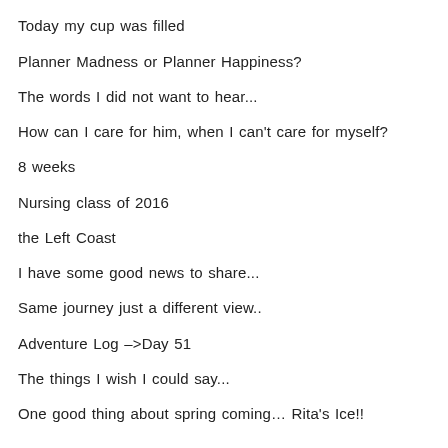Dates with my husband are not a joke
Today my cup was filled
Planner Madness or Planner Happiness?
The words I did not want to hear...
How can I care for him, when I can't care for myself?
8 weeks
Nursing class of 2016
the Left Coast
I have some good news to share...
Same journey just a different view..
Adventure Log –>Day 51
The things I wish I could say...
One good thing about spring coming… Rita's Ice!!